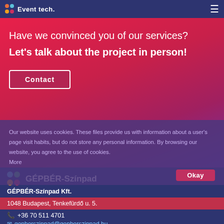Event tech.
Have we convinced you of our services?
Let's talk about the project in person!
Contact
Our website uses cookies. These files provide us with information about a user's page visit habits, but do not store any personal information. By browsing our website, you agree to the use of cookies.
More
Okay
[Figure (logo): GÉPBÉR-Színpad logo with colorful circles]
GÉPBÉR-Színpad Kft.
1048 Budapest, Tenkefürdő u. 5.
+36 70 511 4701
gepberszinpad@gepberszinpad.hu
ladezenia@gepberszinpad.hu